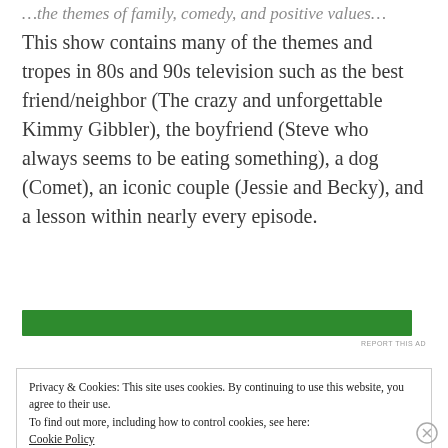This show contains many of the themes and tropes in 80s and 90s television such as the best friend/neighbor (The crazy and unforgettable Kimmy Gibbler), the boyfriend (Steve who always seems to be eating something), a dog (Comet), an iconic couple (Jessie and Becky), and a lesson within nearly every episode.
[Figure (other): Green advertisement banner bar]
REPORT THIS AD
Privacy & Cookies: This site uses cookies. By continuing to use this website, you agree to their use.
To find out more, including how to control cookies, see here:
Cookie Policy
Close and accept